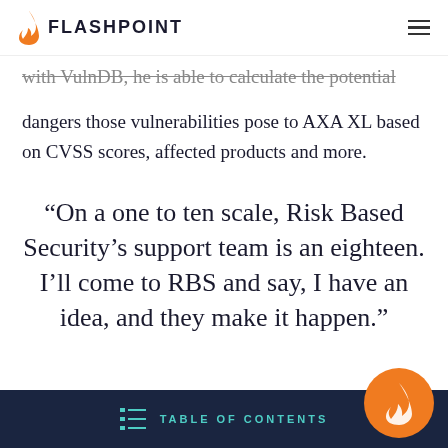FLASHPOINT
with VulnDB, he is able to calculate the potential dangers those vulnerabilities pose to AXA XL based on CVSS scores, affected products and more.
“On a one to ten scale, Risk Based Security’s support team is an eighteen. I’ll come to RBS and say, I have an idea, and they make it happen.”
TABLE OF CONTENTS